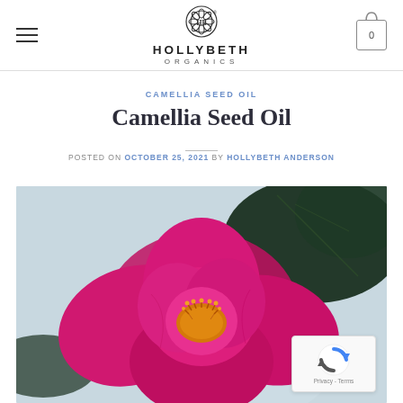HOLLYBETH ORGANICS
CAMELLIA SEED OIL
Camellia Seed Oil
POSTED ON OCTOBER 25, 2021 BY HOLLYBETH ANDERSON
[Figure (photo): Close-up photograph of a bright pink/magenta camellia flower in bloom with yellow stamens visible in the center, against dark green leaves and a soft blurred background.]